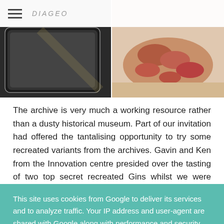DIAGEO
[Figure (photo): Two side-by-side photos: left shows a dark smartphone/tablet on a surface, right shows charcuterie meats on a board]
The archive is very much a working resource rather than a dusty historical museum. Part of our invitation had offered the tantalising opportunity to try some recreated variants from the archives. Gavin and Ken from the Innovation centre presided over the tasting of two top secret recreated Gins whilst we were treated to an abundance of cheese and charcuterie. Not sure there could possibly be a better way to spend a Friday
This site uses cookies from Google to deliver its services and to analyze traffic. Your IP address and user-agent are shared with Google along with performance and security metrics to ensure quality of service, generate usage statistics, and to detect and address abuse.
LEARN MORE    OK